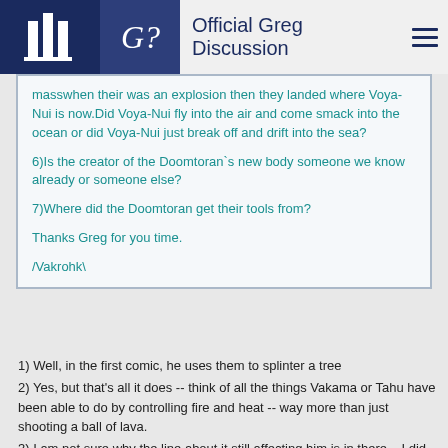Official Greg Discussion
masswhen their was an explosion then they landed where Voya-Nui is now.Did Voya-Nui fly into the air and come smack into the ocean or did Voya-Nui just break off and drift into the sea?

6)Is the creator of the Doomtoran`s new body someone we know already or someone else?

7)Where did the Doomtoran get their tools from?

Thanks Greg for you time.

/Vakrohk\
1) Well, in the first comic, he uses them to splinter a tree
2) Yes, but that's all it does -- think of all the things Vakama or Tahu have been able to do by controlling fire and heat -- way more than just shooting a ball of lava.
3) I am not sure why the line about it still affecting him is in there... I did not